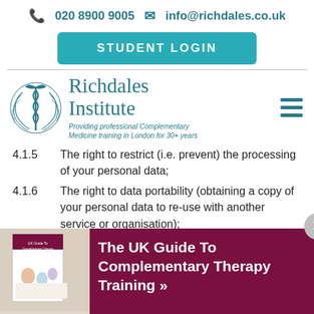020 8900 9005   info@richdales.co.uk
STUDENT LOGIN
[Figure (logo): Richdales Institute logo with caduceus symbol and tagline: Providing professional Complementary Medicine training in London for 30+ years]
4.1.5	The right to restrict (i.e. prevent) the processing of your personal data;
4.1.6	The right to data portability (obtaining a copy of your personal data to re-use with another service or organisation);
[Figure (infographic): Promotional banner: The UK Guide To Complementary Therapy Training with book cover image on dark red/maroon background]